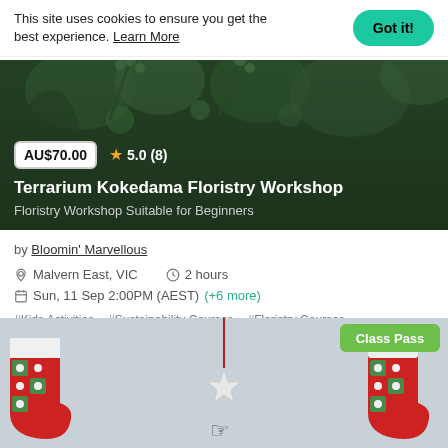This site uses cookies to ensure you get the best experience. Learn More  Got it!
[Figure (photo): Dark background with green plants/foliage, workshop hero image showing terrarium and kokedama plants]
AU$70.00  ★ 5.0 (8)
Terrarium Kokedama Floristry Workshop
Floristry Workshop Suitable for Beginners
by Bloomin' Marvellous
Malvern East, VIC   2 hours
Sun, 11 Sep 2:00PM (AEST)  (+6 more)
#Kids Activities  #Sustainability Courses  #Floristry Courses
[Figure (photo): Christmas stockings with crochet granny square pattern in red, green and white, hanging with a star ornament in the center]